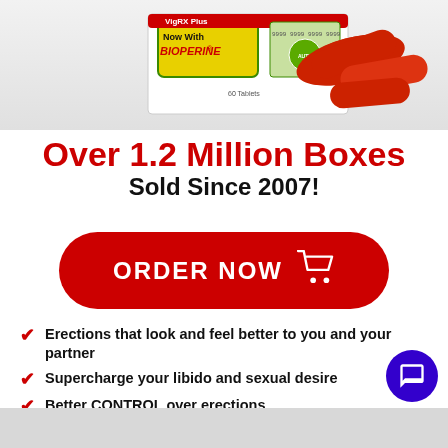[Figure (photo): Product box labeled 'Now With BIOPERINE®' showing 60 tablets, with red supplement capsules/pills beside it and a shopping cart security image]
Over 1.2 Million Boxes Sold Since 2007!
[Figure (infographic): Red rounded rectangle ORDER NOW button with shopping cart icon]
Erections that look and feel better to you and your partner
Supercharge your libido and sexual desire
Better CONTROL over erections
More frequent and intense orgasms